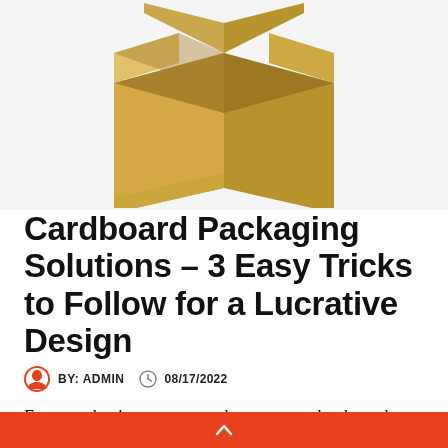[Figure (photo): Open cardboard box viewed from above and side angle, rendered in golden-brown tones against a light grey background]
Cardboard Packaging Solutions – 3 Easy Tricks to Follow for a Lucrative Design
BY: ADMIN   08/17/2022
For most business owners, they assume that how they package their products into cardboard boxes requires very little thought–